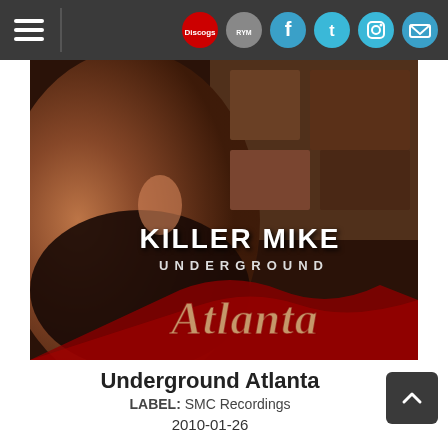Navigation bar with hamburger menu and social icons (Discogs, Rate Your Music, Facebook, Twitter, Instagram, Email)
[Figure (photo): Album cover for Killer Mike - Underground Atlanta. Close-up of a man's face with beard and tattoos on the left, collage of images on the right. Text reads: KILLER MIKE, UNDERGROUND, Atlanta in stylized script. Dark reddish-brown tones.]
Underground Atlanta
LABEL: SMC Recordings
2010-01-26